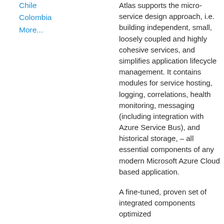Chile
Colombia
More...
Atlas supports the micro-service design approach, i.e. building independent, small, loosely coupled and highly cohesive services, and simplifies application lifecycle management. It contains modules for service hosting, logging, correlations, health monitoring, messaging (including integration with Azure Service Bus), and historical storage, – all essential components of any modern Microsoft Azure Cloud based application.
A fine-tuned, proven set of integrated components optimized